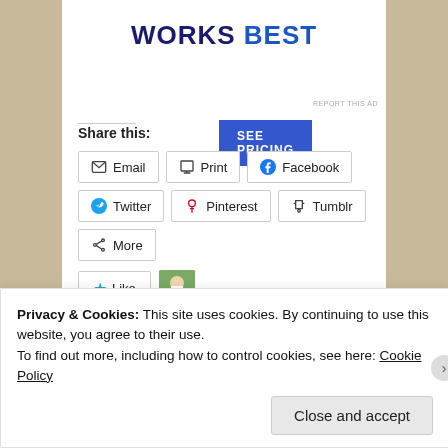[Figure (screenshot): Partial heading text 'Works Best' in large bold dark navy and blue uppercase letters with an advertisement 'SEE PRICING' button]
REPORT THIS AD
Share this:
Email
Print
Facebook
Twitter
Pinterest
Tumblr
More
Like  One blogger likes this.
September 4, 2016 in Recipes. Tags: baking, birthday,
Privacy & Cookies: This site uses cookies. By continuing to use this website, you agree to their use.
To find out more, including how to control cookies, see here: Cookie Policy
Close and accept
REPORT THIS AD